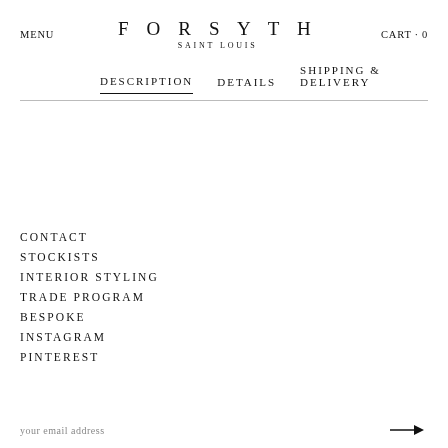MENU | FORSYTH SAINT LOUIS | CART · 0
DESCRIPTION | DETAILS | SHIPPING & DELIVERY
CONTACT
STOCKISTS
INTERIOR STYLING
TRADE PROGRAM
BESPOKE
INSTAGRAM
PINTEREST
your email address →